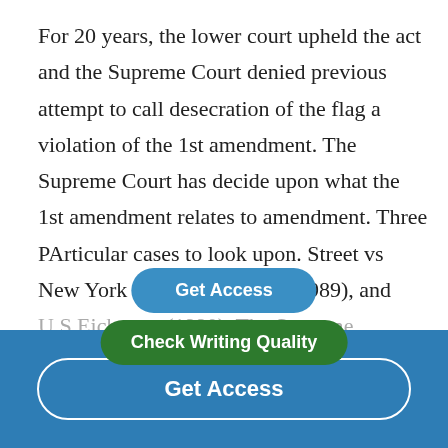For 20 years, the lower court upheld the act and the Supreme Court denied previous attempt to call desecration of the flag a violation of the 1st amendment. The Supreme Court has decide upon what the 1st amendment relates to amendment. Three PArticular cases to look upon. Street vs New York (1969), Te[x…](1989), and U.S Eichmann(1990). The Supreme interprets the constit[…]ment
[Figure (other): Blue rounded 'Get Access' button overlay on text]
[Figure (other): Dark green rounded 'Check Writing Quality' button overlay on text]
[Figure (other): Blue footer bar with white-outlined 'Get Access' button]